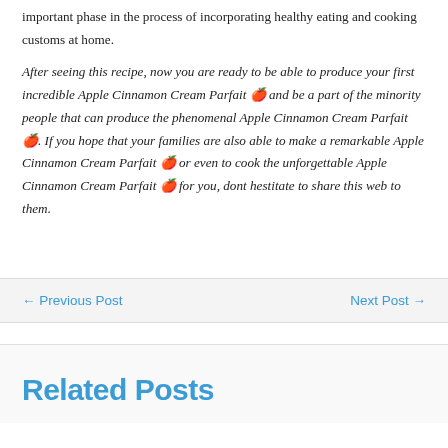important phase in the process of incorporating healthy eating and cooking customs at home.
After seeing this recipe, now you are ready to be able to produce your first incredible Apple Cinnamon Cream Parfait 🍎 and be a part of the minority people that can produce the phenomenal Apple Cinnamon Cream Parfait 🍎. If you hope that your families are also able to make a remarkable Apple Cinnamon Cream Parfait 🍎 or even to cook the unforgettable Apple Cinnamon Cream Parfait 🍎 for you, dont hestitate to share this web to them.
← Previous Post    Next Post →
Related Posts